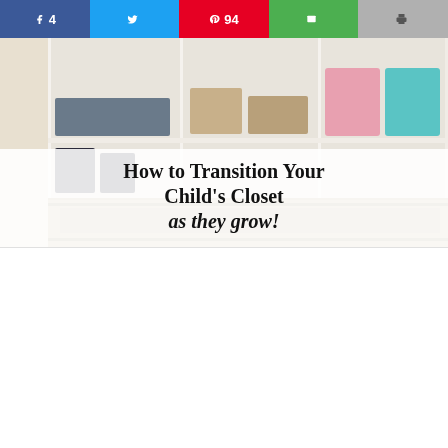[Figure (infographic): Social share bar with 5 buttons: Facebook (4 shares, blue), Twitter (bird icon, cyan), Pinterest (94 saves, red), Email (envelope icon, green), Print (printer icon, light gray)]
[Figure (photo): A child's organized closet with white shelving units showing folded clothes, a pink storage box, a blue storage box, and other items on shelves. Below the photo, a semi-transparent white overlay displays the article title.]
How to Transition Your Child's Closet as they grow!